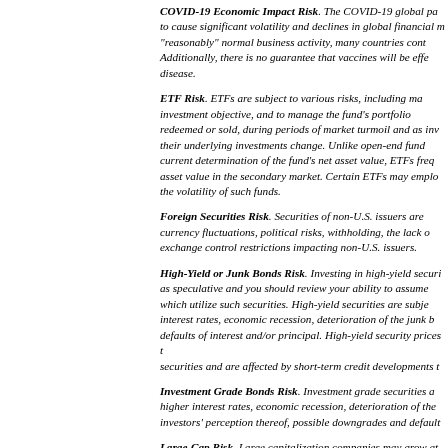COVID-19 Economic Impact Risk. The COVID-19 global pandemic continues to cause significant volatility and declines in global financial markets. While some businesses have resumed "reasonably" normal business activity, many countries continue to be severely impacted. Additionally, there is no guarantee that vaccines will be effective in preventing the spread of the disease.
ETF Risk. ETFs are subject to various risks, including management's ability to meet the fund's investment objective, and to manage the fund's portfolio when the underlying securities are redeemed or sold, during periods of market turmoil and as investors' perception of ETFs' underlying investments change. Unlike open-end funds that are priced daily, and allow for a current determination of the fund's net asset value, ETFs frequently trade at a discount to their net asset value in the secondary market. Certain ETFs may employ the use of leverage which increases the volatility of such funds.
Foreign Securities Risk. Securities of non-U.S. issuers are subject to additional risks including currency fluctuations, political risks, withholding, the lack of adequate financial information, and exchange control restrictions impacting non-U.S. issuers.
High-Yield or Junk Bonds Risk. Investing in high-yield securities is generally considered as speculative and you should review your ability to assume the risks before investing in funds which utilize such securities. High-yield securities are subject to a greater risk of loss of interest rates, economic recession, deterioration of the junk bond market, issuer defaults of interest and/or principal. High-yield security prices tend to fluctuate more than higher-quality securities and are affected by short-term credit developments to a greater degree.
Investment Grade Bonds Risk. Investment grade securities are subject to risks including higher interest rates, economic recession, deterioration of the investment grade bond market, investors' perception thereof, possible downgrades and defaults.
Large-Cap Risk. Large capitalization companies may grow at a